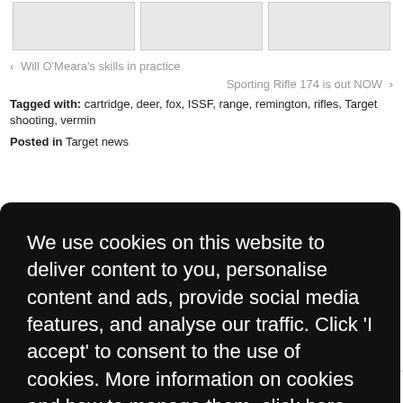[Figure (other): Three placeholder image boxes in a horizontal strip at the top of the page]
‹ Will O'Meara's skills in practice
Sporting Rifle 174 is out NOW ›
Tagged with: cartridge, deer, fox, ISSF, range, remington, rifles, Target shooting, vermin
Posted in Target news
We use cookies on this website to deliver content to you, personalise content and ads, provide social media features, and analyse our traffic. Click 'I accept' to consent to the use of cookies. More information on cookies and how to manage them click here
I Accept